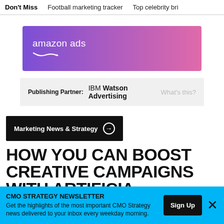Don't Miss   Football marketing tracker   Top celebrity bri
[Figure (logo): Amazon Ads logo banner with purple to pink gradient background]
Publishing Partner: IBM Watson Advertising   What's this?
Marketing News & Strategy →
HOW YOU CAN BOOST CREATIVE CAMPAIGNS WITH ARTIFICIAL
CMO STRATEGY NEWSLETTER
Get the highlights of the most important CMO Strategy news delivered to your inbox every weekday morning.